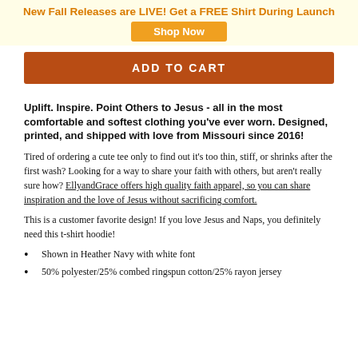New Fall Releases are LIVE! Get a FREE Shirt During Launch
Shop Now
ADD TO CART
Uplift. Inspire. Point Others to Jesus - all in the most comfortable and softest clothing you've ever worn. Designed, printed, and shipped with love from Missouri since 2016!
Tired of ordering a cute tee only to find out it's too thin, stiff, or shrinks after the first wash? Looking for a way to share your faith with others, but aren't really sure how? EllyandGrace offers high quality faith apparel, so you can share inspiration and the love of Jesus without sacrificing comfort.
This is a customer favorite design! If you love Jesus and Naps, you definitely need this t-shirt hoodie!
Shown in Heather Navy with white font
50% polyester/25% combed ringspun cotton/25% rayon jersey